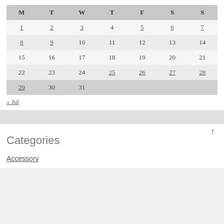| M | T | W | T | F | S | S |
| --- | --- | --- | --- | --- | --- | --- |
| 1 | 2 | 3 | 4 | 5 | 6 | 7 |
| 8 | 9 | 10 | 11 | 12 | 13 | 14 |
| 15 | 16 | 17 | 18 | 19 | 20 | 21 |
| 22 | 23 | 24 | 25 | 26 | 27 | 28 |
| 29 | 30 | 31 |  |  |  |  |
« Jul
Categories
Accessory